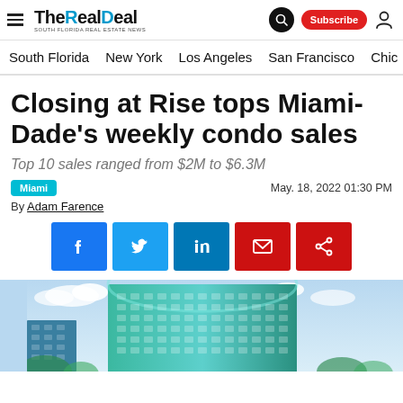The Real Deal — South Florida Real Estate News
South Florida  New York  Los Angeles  San Francisco  Chic
Closing at Rise tops Miami-Dade's weekly condo sales
Top 10 sales ranged from $2M to $6.3M
Miami   May. 18, 2022 01:30 PM
By Adam Farence
[Figure (screenshot): Social share buttons: Facebook, Twitter, LinkedIn, Email, Share]
[Figure (photo): Exterior photo of the Rise condominium building in Miami, a tall glass tower with curved architecture against a blue sky]